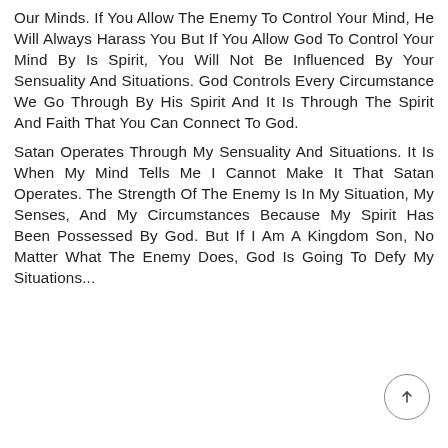Our Minds. If You Allow The Enemy To Control Your Mind, He Will Always Harass You But If You Allow God To Control Your Mind By Is Spirit, You Will Not Be Influenced By Your Sensuality And Situations. God Controls Every Circumstance We Go Through By His Spirit And It Is Through The Spirit And Faith That You Can Connect To God.

Satan Operates Through My Sensuality And Situations. It Is When My Mind Tells Me I Cannot Make It That Satan Operates. The Strength Of The Enemy Is In My Situation, My Senses, And My Circumstances Because My Spirit Has Been Possessed By God. But If I Am A Kingdom Son, No Matter What The Enemy Does, God Is Going To Defy My Situations...